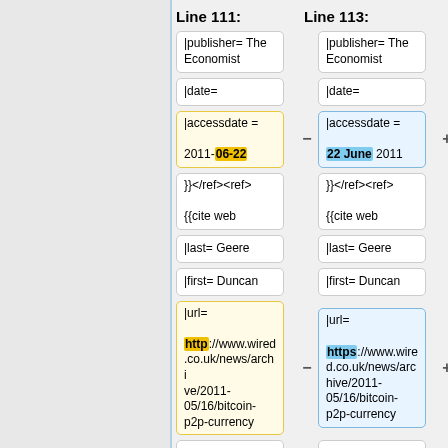Line 111:
Line 113:
|publisher= The Economist
|publisher= The Economist
|date=
|date=
|accessdate = 2011-06-22 (deleted, 06-22 highlighted)
|accessdate = 22 June 2011 (added, 22 June highlighted)
}} </ref><ref> {{cite web
}}</ref><ref> {{cite web
|last= Geere
|last= Geere
|first= Duncan
|first= Duncan
|url= http://www.wired.co.uk/news/archive/2011-05/16/bitcoin-p2p-currency
|url= https://www.wired.co.uk/news/archive/2011-05/16/bitcoin-p2p-currency
|title= Peer-to-
|title= Peer-to-